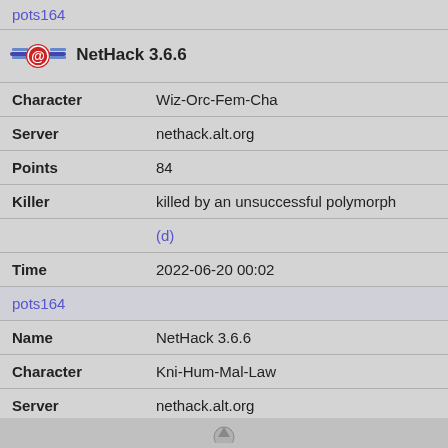pots164
| [logo] | NetHack 3.6.6 |
| Character | Wiz-Orc-Fem-Cha |
| Server | nethack.alt.org |
| Points | 84 |
| Killer | killed by an unsuccessful polymorph |
|  | (d) |
| Time | 2022-06-20 00:02 |
|  | pots164 |
| Name | NetHack 3.6.6 |
| Character | Kni-Hum-Mal-Law |
| Server | nethack.alt.org |
| Points | 0 |
| Killer | slipped while mounting a saddled pony |
|  | (d) |
| Time | 2022-06-20 00:01 |